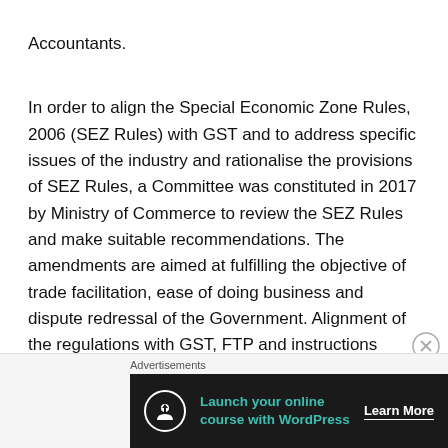Accountants.
In order to align the Special Economic Zone Rules, 2006 (SEZ Rules) with GST and to address specific issues of the industry and rationalise the provisions of SEZ Rules, a Committee was constituted in 2017 by Ministry of Commerce to review the SEZ Rules and make suitable recommendations. The amendments are aimed at fulfilling the objective of trade facilitation, ease of doing business and dispute redressal of the Government. Alignment of the regulations with GST, FTP and instructions issued periodically will hopefully provide procedural and
Advertisements
Launch your online course with WordPress  Learn More